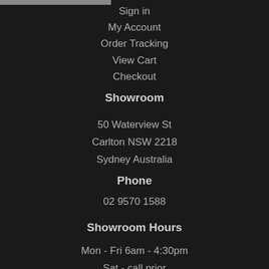Sign in
My Account
Order Tracking
View Cart
Checkout
Showroom
50 Waterview St
Carlton NSW 2218
Sydney Australia
Phone
02 9570 1588
Showroom Hours
Mon - Fri 6am - 4:30pm
Sat - call prior
Sun - by appointment